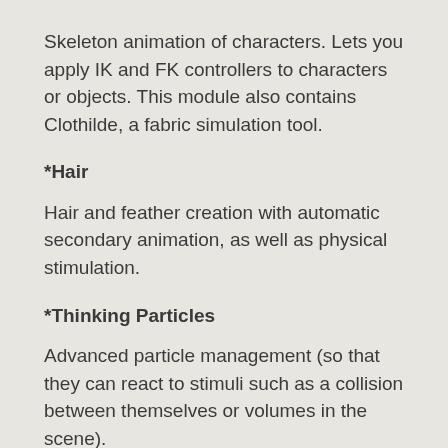Skeleton animation of characters. Lets you apply IK and FK controllers to characters or objects. This module also contains Clothilde, a fabric simulation tool.
*Hair
Hair and feather creation with automatic secondary animation, as well as physical stimulation.
*Thinking Particles
Advanced particle management (so that they can react to stimuli such as a collision between themselves or volumes in the scene).
*MoGraph
Complex animation effects, modular object cloning,